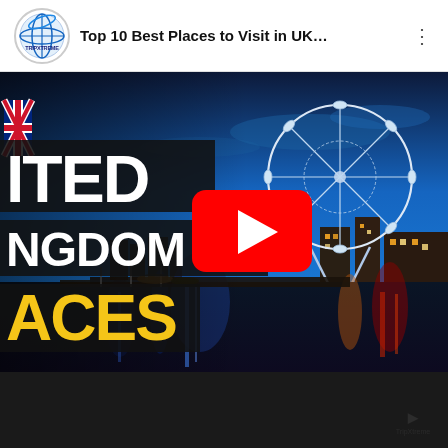Top 10 Best Places to Visit in UK…
[Figure (screenshot): YouTube video thumbnail showing London Eye and River Thames at dusk/night with colorful reflections. Overlaid text reads 'ITED / NGDOM / ACES' (cropped 'UNITED KINGDOM PLACES') in white and gold on black backgrounds. A YouTube play button is centered on the thumbnail. A partial UK flag is visible top-left. The channel logo 'TRIPXTREME' appears in the top bar.]